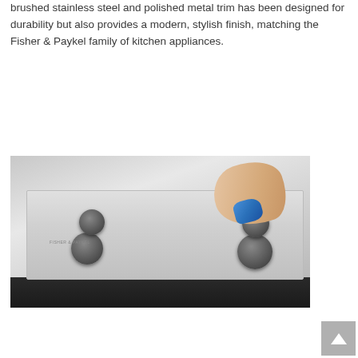brushed stainless steel and polished metal trim has been designed for durability but also provides a modern, stylish finish, matching the Fisher & Paykel family of kitchen appliances.
[Figure (photo): A hand wiping a stainless steel Fisher & Paykel gas cooktop with a blue cloth. The cooktop has four burners and is set on a dark counter.]